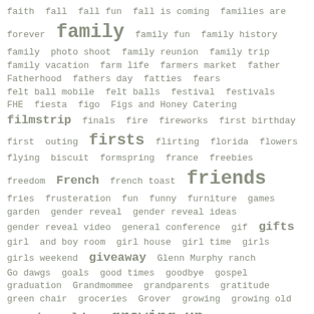faith fall fall fun fall is coming families are forever family family fun family history family photo shoot family reunion family trip family vacation farm life farmers market father Fatherhood fathers day fatties fears felt ball mobile felt balls festival festivals FHE fiesta figo Figs and Honey Catering filmstrip finals fire fireworks first birthday first outing firsts flirting florida flowers flying biscuit formspring france freebies freedom French french toast friends fries frusteration fun funny furniture games garden gender reveal gender reveal ideas gender reveal video general conference gif gifts girl and boy room girl house girl time girls girls weekend giveaway Glenn Murphy ranch Go dawgs goals good times goodbye gospel graduation Grandmommee grandparents gratitude green chair groceries Grover growing growing old growing older growing up guilty pleasures guitar guitar string ring haha hahaha hair haircut half way halloween handmade birthday banner hands hanging table hanky panky hanky wall hanky wall art hannah happiness happy Happy birthday happy day happy home happy our son happy times hard times harmonica hats headbows health healthy healthy eating help hiatus hilton head hipstamatic holiday holidays holly 1